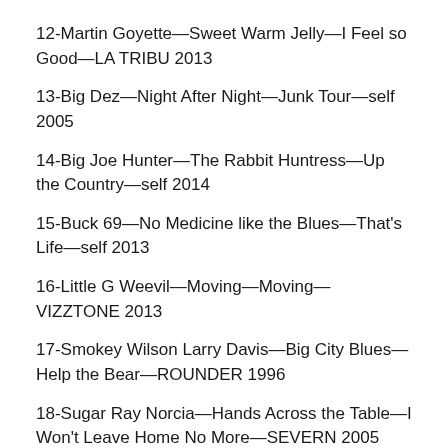12-Martin Goyette—Sweet Warm Jelly—I Feel so Good—LA TRIBU 2013
13-Big Dez—Night After Night—Junk Tour—self 2005
14-Big Joe Hunter—The Rabbit Huntress—Up the Country—self 2014
15-Buck 69—No Medicine like the Blues—That's Life—self 2013
16-Little G Weevil—Moving—Moving—VIZZTONE 2013
17-Smokey Wilson Larry Davis—Big City Blues—Help the Bear—ROUNDER 1996
18-Sugar Ray Norcia—Hands Across the Table—I Won't Leave Home No More—SEVERN 2005